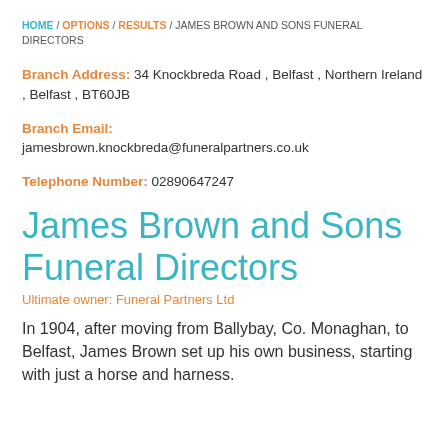HOME / OPTIONS / RESULTS / JAMES BROWN AND SONS FUNERAL DIRECTORS
Branch Address: 34 Knockbreda Road , Belfast , Northern Ireland , Belfast , BT60JB
Branch Email: jamesbrown.knockbreda@funeralpartners.co.uk
Telephone Number: 02890647247
James Brown and Sons Funeral Directors
Ultimate owner: Funeral Partners Ltd
In 1904, after moving from Ballybay, Co. Monaghan, to Belfast, James Brown set up his own business, starting with just a horse and harness.